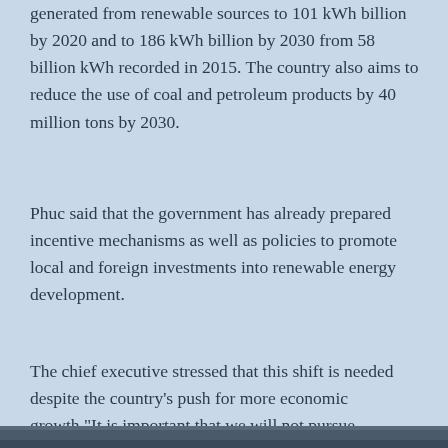generated from renewable sources to 101 kWh billion by 2020 and to 186 kWh billion by 2030 from 58 billion kWh recorded in 2015. The country also aims to reduce the use of coal and petroleum products by 40 million tons by 2030.
Phuc said that the government has already prepared incentive mechanisms as well as policies to promote local and foreign investments into renewable energy development.
The chief executive stressed that this shift is needed despite the country’s push for more economic growth,“It is important that we will not pursue economic growth at the expense of the environment,” Phuc noted.
[Figure (photo): Partial view of a photo at the bottom of the page, showing a dark/outdoor scene]